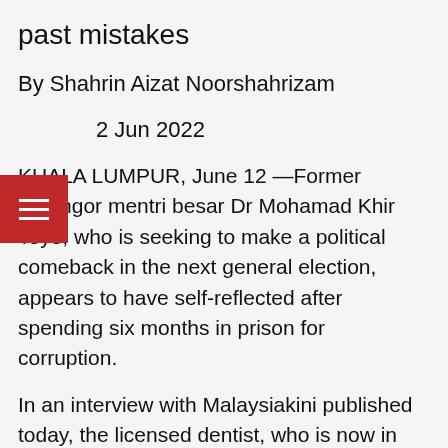past mistakes
By Shahrin Aizat Noorshahrizam
2 Jun 2022
KUALA LUMPUR, June 12 —Former Selangor mentri besar Dr Mohamad Khir Toyo, who is seeking to make a political comeback in the next general election, appears to have self-reflected after spending six months in prison for corruption.
In an interview with Malaysiakini published today, the licensed dentist, who is now in the food business, described his time behind bars as difficult but that he has learnt his lesson and now wants to make up for his